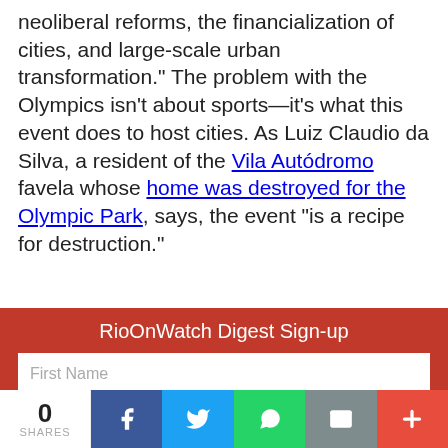neoliberal reforms, the financialization of cities, and large-scale urban transformation.” The problem with the Olympics isn’t about sports—it’s what this event does to host cities. As Luiz Claudio da Silva, a resident of the Vila Autódromo favela whose home was destroyed for the Olympic Park, says, the event “is a recipe for destruction.”
RioOnWatch Digest Sign-up
First Name
Last Name
Email
Organization
Country
0 SHARES